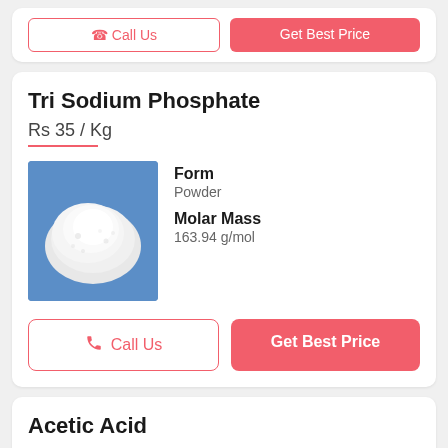[Figure (screenshot): Top portion of a product card with two buttons (Call Us outline, Get Best Price filled) partially visible at top]
Tri Sodium Phosphate
Rs 35 / Kg
[Figure (photo): Photo of white powder (Tri Sodium Phosphate) on a blue background]
Form
Powder
Molar Mass
163.94 g/mol
Call Us
Get Best Price
Acetic Acid
Rs 30 / Kilogram